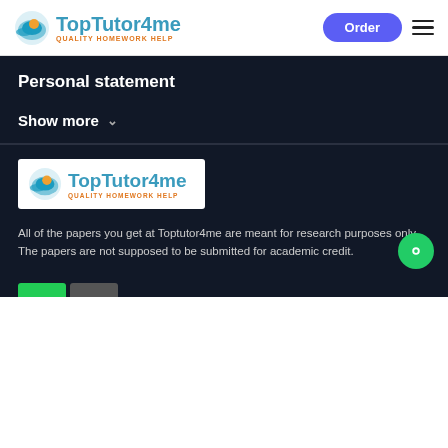TopTutor4me — QUALITY HOMEWORK HELP | Order
Personal statement
Show more
[Figure (logo): TopTutor4me logo with tagline QUALITY HOMEWORK HELP on white background]
All of the papers you get at Toptutor4me are meant for research purposes only. The papers are not supposed to be submitted for academic credit.